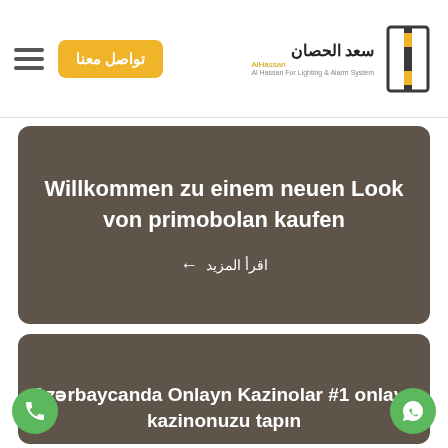تواصل معنا | سعد الحصان Al Hassan For Lighting & Alarm System
Willkommen zu einem neuen Look von primobolan kaufen
اقرأ المزيد ←
Azərbaycanda Onlayn Kazinolar #1 onlayn kazinonuzu tapın